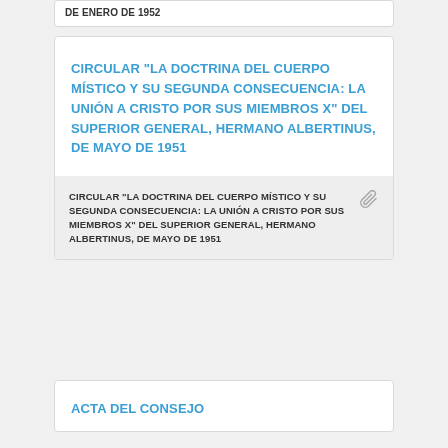DE ENERO DE 1952
CIRCULAR "LA DOCTRINA DEL CUERPO MÍSTICO Y SU SEGUNDA CONSECUENCIA: LA UNIÓN A CRISTO POR SUS MIEMBROS X" DEL SUPERIOR GENERAL, HERMANO ALBERTINUS, DE MAYO DE 1951
CIRCULAR "LA DOCTRINA DEL CUERPO MÍSTICO Y SU SEGUNDA CONSECUENCIA: LA UNIÓN A CRISTO POR SUS MIEMBROS X" DEL SUPERIOR GENERAL, HERMANO ALBERTINUS, DE MAYO DE 1951
ACTA DEL CONSEJO